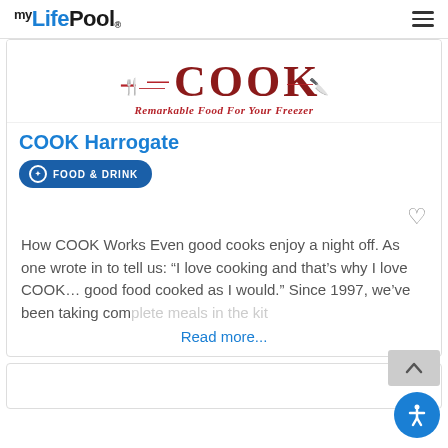myLifePool
[Figure (logo): COOK brand banner with fork and knife decorations and tagline 'Remarkable Food For Your Freezer']
COOK Harrogate
FOOD & DRINK
How COOK Works Even good cooks enjoy a night off. As one wrote in to tell us: “I love cooking and that’s why I love COOK… good food cooked as I would.” Since 1997, we’ve been taking com... in the kit...
Read more...